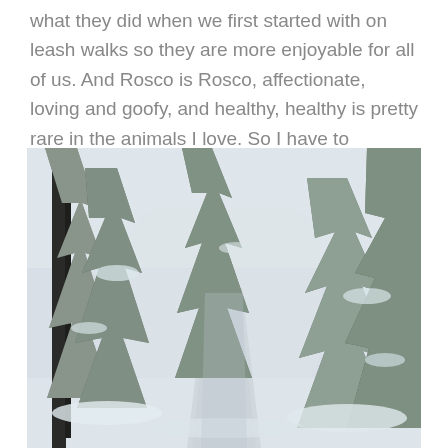what they did when we first started with on leash walks so they are more enjoyable for all of us. And Rosco is Rosco, affectionate, loving and goofy, and healthy, healthy is pretty rare in the animals I love. So I have to mention that.
[Figure (photo): A snow-covered forest path flanked by tall evergreen trees heavily laden with snow, receding into the distance. The scene is a winter forest with a pale overcast sky visible between the trees.]